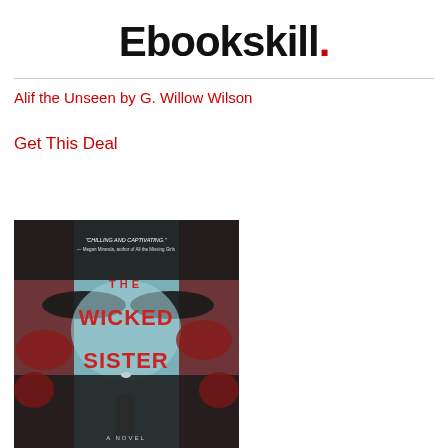Ebookskill.
Alif the Unseen by G. Willow Wilson
Get This Deal
[Figure (illustration): Book cover of 'The Wicked Sister' — a dark thriller novel cover featuring a figure standing in a forest, red foliage, dark tree silhouettes forming a face shape, with text 'CHILLING AND CAPTIVATING. — Megan Miranda, author of All the Missing Girls', 'THE WICKED SISTER', 'A NOVEL']